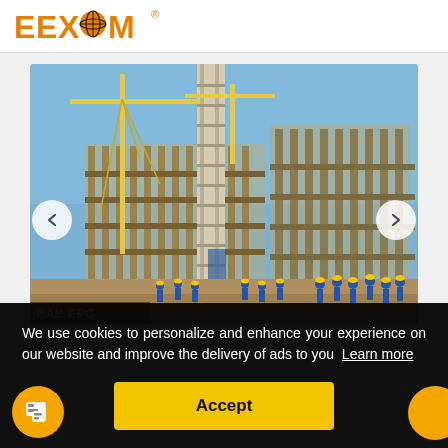[Figure (logo): EEXCOM logo with globe icon in orange color and registered trademark symbol]
[Figure (photo): Industrial construction site showing a large refinery or petrochemical plant with tall chimney/column, cranes, scaffolding, and workers in blue uniforms and yellow hard hats]
BAB EPC
We use cookies to personalize and enhance your experience on our website and improve the delivery of ads to you  Learn more
Accept